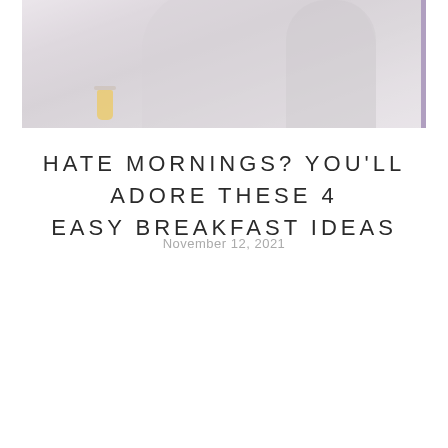[Figure (photo): Person relaxing on a couch or chair in light/neutral tones, with a glass of juice visible, soft morning lifestyle scene]
HATE MORNINGS? YOU'LL ADORE THESE 4 EASY BREAKFAST IDEAS
November 12, 2021